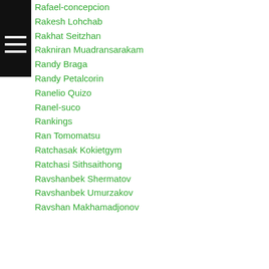Rafael-concepcion
Rakesh Lohchab
Rakhat Seitzhan
Rakniran Muadransarakam
Randy Braga
Randy Petalcorin
Ranelio Quizo
Ranel-suco
Rankings
Ran Tomomatsu
Ratchasak Kokietgym
Ratchasi Sithsaithong
Ravshanbek Shermatov
Ravshanbek Umurzakov
Ravshan Makhamadjonov
t Gaballo
[Figure (screenshot): Infolinks advertisement banner showing 'In-store shopping' with logo and navigation arrow]